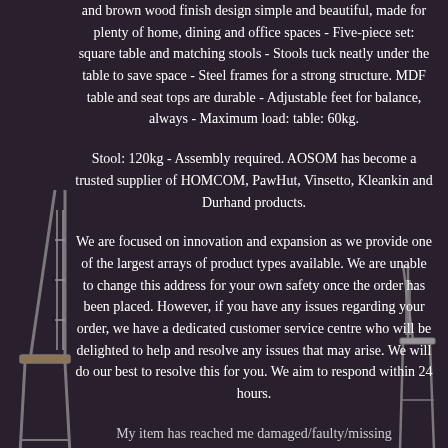and brown wood finish design simple and beautiful, made for plenty of home, dining and office spaces - Five-piece set: square table and matching stools - Stools tuck neatly under the table to save space - Steel frames for a strong structure. MDF table and seat tops are durable - Adjustable feet for balance, always - Maximum load: table: 60kg.
Stool: 120kg - Assembly required. AOSOM has become a trusted supplier of HOMCOM, PawHut, Vinsetto, Kleankin and Durhand products.
We are focused on innovation and expansion as we provide one of the largest arrays of product types available. We are unable to change this address for your own safety once the order has been placed. However, if you have any issues regarding your order, we have a dedicated customer service centre who will be delighted to help and resolve any issues that may arise. We will do our best to resolve this for you. We aim to respond within 24 hours.
My item has reached me damaged/faulty/missing